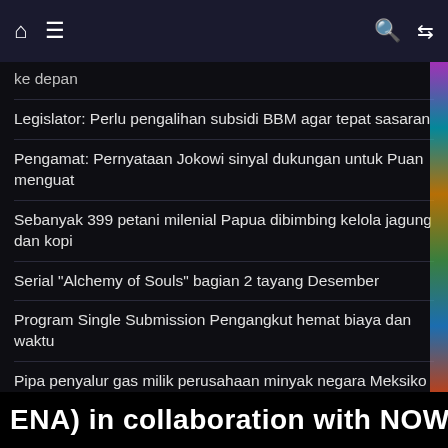Navigation bar with home, menu, search, and shuffle icons
ke depan
Legislator: Perlu pengalihan subsidi BBM agar tepat sasaran
Pengamat: Pernyataan Jokowi sinyal dukungan untuk Puan menguat
Sebanyak 399 petani milenial Papua dibimbing kelola jagung dan kopi
Serial "Alchemy of Souls" bagian 2 tayang Desember
Program Single Submission Pengangkut hemat biaya dan waktu
Pipa penyalur gas milik perusahaan minyak negara Meksiko terbakar
UNJ kembali jadi tuan rumah konferensi akuntansi internasional
ENA) in collaboration with NOW